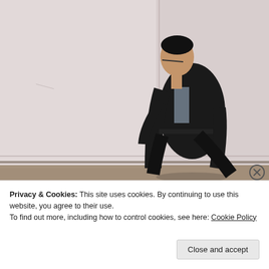[Figure (photo): A man in a dark suit and glasses, head bowed, walking in front of a large white wall or board. The scene appears to be indoors, possibly a conference or exhibition space.]
Privacy & Cookies: This site uses cookies. By continuing to use this website, you agree to their use.
To find out more, including how to control cookies, see here: Cookie Policy